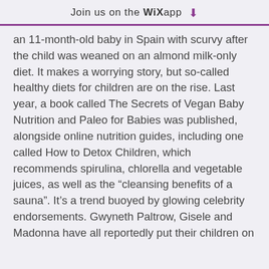Join us on the WiX app ↓
an 11-month-old baby in Spain with scurvy after the child was weaned on an almond milk-only diet. It makes a worrying story, but so-called healthy diets for children are on the rise. Last year, a book called The Secrets of Vegan Baby Nutrition and Paleo for Babies was published, alongside online nutrition guides, including one called How to Detox Children, which recommends spirulina, chlorella and vegetable juices, as well as the “cleansing benefits of a sauna”. It’s a trend buoyed by glowing celebrity endorsements. Gwyneth Paltrow, Gisele and Madonna have all reportedly put their children on restrictive diets. Then there are the